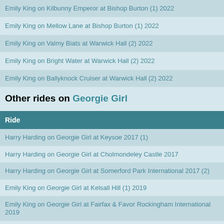Emily King on Kilbunny Emperor at Bishop Burton (1) 2022
Emily King on Mellow Lane at Bishop Burton (1) 2022
Emily King on Valmy Biats at Warwick Hall (2) 2022
Emily King on Bright Water at Warwick Hall (2) 2022
Emily King on Ballyknock Cruiser at Warwick Hall (2) 2022
Other rides on Georgie Girl
| Ride |
| --- |
| Harry Harding on Georgie Girl at Keysoe 2017 (1) |
| Harry Harding on Georgie Girl at Cholmondeley Castle 2017 |
| Harry Harding on Georgie Girl at Somerford Park International 2017 (2) |
| Emily King on Georgie Girl at Kelsall Hill (1) 2019 |
| Emily King on Georgie Girl at Fairfax & Favor Rockingham International 2019 |
| Emily King on Georgie Girl at Aske 2019 |
| Rio Hall on Georgie Girl at Aske 2020 |
| Rio Hall on Georgie Girl at Cholmondeley Castle 2020 |
| Rio Hall on Georgie Girl at Warwick Hall (2) 2021 |